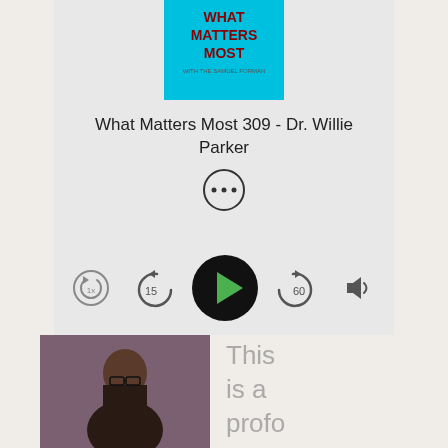[Figure (screenshot): Podcast player card showing album art for 'What Matters Most' podcast with playback controls]
What Matters Most 309 - Dr. Willie Parker
[Figure (photo): Portrait photo of Dr. Willie Parker, an African American man wearing glasses and a dark suit]
This is a profo